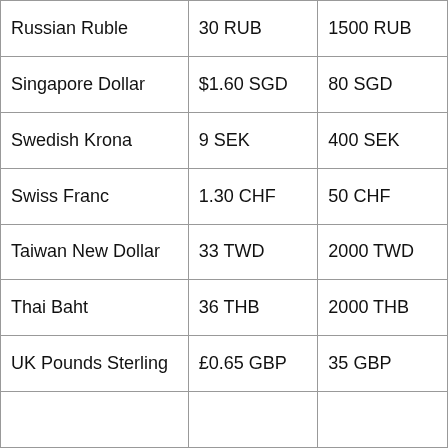| Russian Ruble | 30 RUB | 1500 RUB |
| Singapore Dollar | $1.60 SGD | 80 SGD |
| Swedish Krona | 9 SEK | 400 SEK |
| Swiss Franc | 1.30 CHF | 50 CHF |
| Taiwan New Dollar | 33 TWD | 2000 TWD |
| Thai Baht | 36 THB | 2000 THB |
| UK Pounds Sterling | £0.65 GBP | 35 GBP |
|  |  |  |